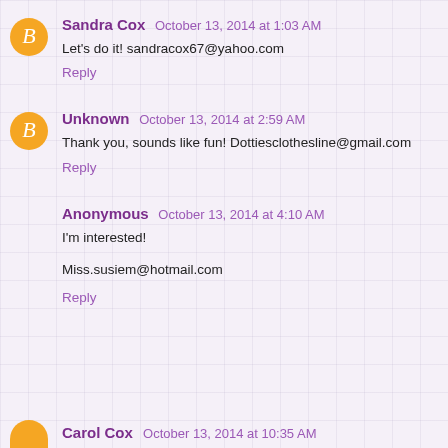Sandra Cox  October 13, 2014 at 1:03 AM
Let's do it! sandracox67@yahoo.com
Reply
Unknown  October 13, 2014 at 2:59 AM
Thank you, sounds like fun! Dottiesclothesline@gmail.com
Reply
Anonymous  October 13, 2014 at 4:10 AM
I'm interested!

Miss.susiem@hotmail.com
Reply